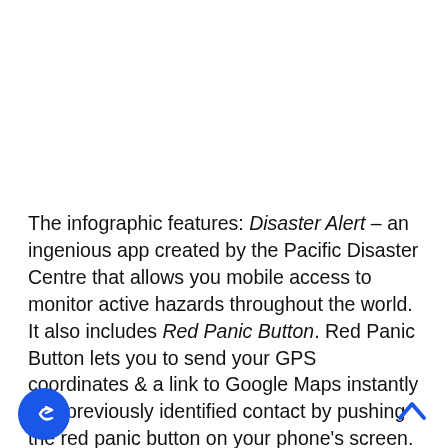The infographic features: Disaster Alert – an ingenious app created by the Pacific Disaster Centre that allows you mobile access to monitor active hazards throughout the world. It also includes Red Panic Button. Red Panic Button lets you to send your GPS coordinates & a link to Google Maps instantly to a previously identified contact by pushing the red panic button on your phone's screen. For more details and apps, take a look the infographic below!